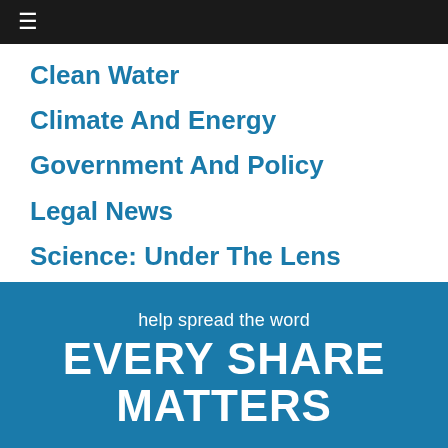≡
Clean Water
Climate And Energy
Government And Policy
Legal News
Science: Under The Lens
[Figure (infographic): Blue banner with text 'help spread the word' and bold text 'EVERY SHARE MATTERS' with decorative open book and horizontal lines at bottom]